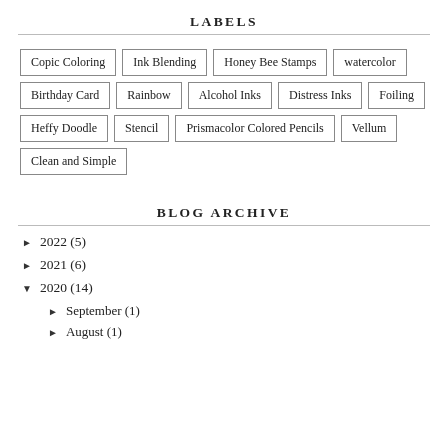LABELS
Copic Coloring
Ink Blending
Honey Bee Stamps
watercolor
Birthday Card
Rainbow
Alcohol Inks
Distress Inks
Foiling
Heffy Doodle
Stencil
Prismacolor Colored Pencils
Vellum
Clean and Simple
BLOG ARCHIVE
► 2022 (5)
► 2021 (6)
▼ 2020 (14)
► September (1)
► August (1)